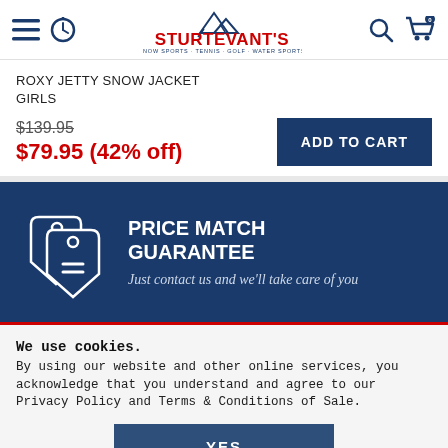[Figure (logo): Sturtevant's logo with mountain graphic and tagline SNOW SPORTS · TENNIS · GOLF · WATER SPORTS, with hamburger menu, clock icon, search icon, and cart icon]
ROXY JETTY SNOW JACKET GIRLS
$139.95 (strikethrough) $79.95 (42% off)
ADD TO CART button
[Figure (illustration): Price tag icon — two overlapping price tags with equal sign, white outline on dark blue background]
PRICE MATCH GUARANTEE
Just contact us and we'll take care of you
We use cookies. By using our website and other online services, you acknowledge that you understand and agree to our Privacy Policy and Terms & Conditions of Sale.
YES button